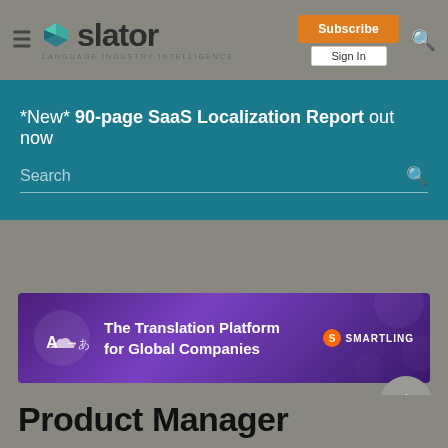Slator — Language Industry Intelligence
*New* 90-page SaaS Localization Report out now
[Figure (screenshot): Smartling advertisement banner: The Translation Platform for Global Companies]
Product Manager